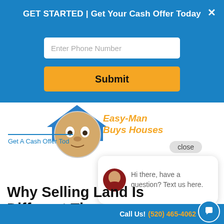GET STARTED | Get Your Cash Offer Today
[Figure (screenshot): Phone number input field with placeholder text 'Enter Phone Number']
[Figure (screenshot): Orange Submit button]
[Figure (logo): Easy-Man Buys Houses logo with cartoon face and blue house roof]
close
Hi there, have a question? Text us here.
Get A Cash Offer Tod
Why Selling Land Is Different Than Selli...
Call Us! (520) 465-4062